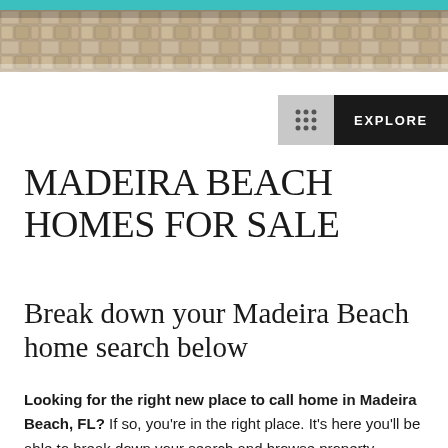[Figure (photo): Aerial or close-up photo of paved stone tiles/walkway, serving as a decorative header image for a real estate website about Madeira Beach homes.]
MADEIRA BEACH HOMES FOR SALE
Break down your Madeira Beach home search below
Looking for the right new place to call home in Madeira Beach, FL? If so, you're in the right place. It's here you'll be able to break down your search and browse property listings after all your number one resource for real estate...